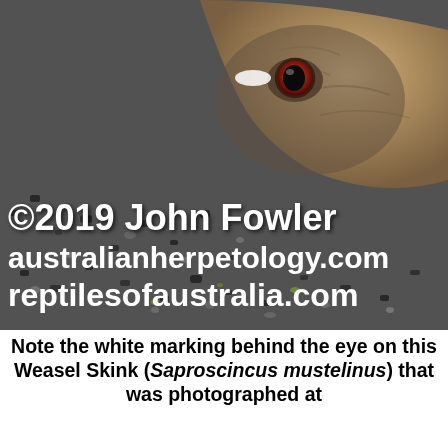[Figure (photo): Close-up photograph of a Weasel Skink (Saproscincus mustelinus) on a dark rocky surface. The lizard's head and eye are visible in the upper right portion of the image. The eye has a distinctive reddish-brown iris with black pupil and a white marking behind it. The rocky surface is dark grey/black with speckled texture. A watermark reading '©2019 John Fowler australianherpetology.com reptilesofaustralia.com' appears in white bold text over the lower left of the image.]
Note the white marking behind the eye on this Weasel Skink (Saproscincus mustelinus) that was photographed at